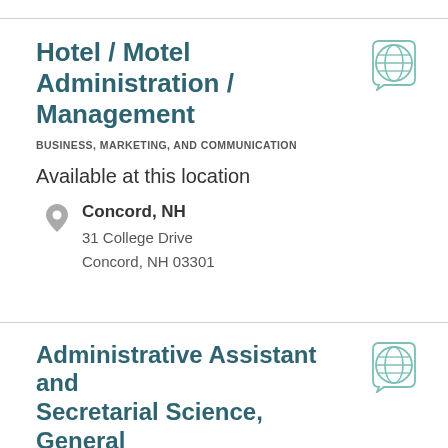Hotel / Motel Administration / Management
BUSINESS, MARKETING, AND COMMUNICATION
Available at this location
Concord, NH
31 College Drive
Concord, NH 03301
Administrative Assistant and Secretarial Science, General
BUSINESS, MARKETING, AND COMMUNICATION